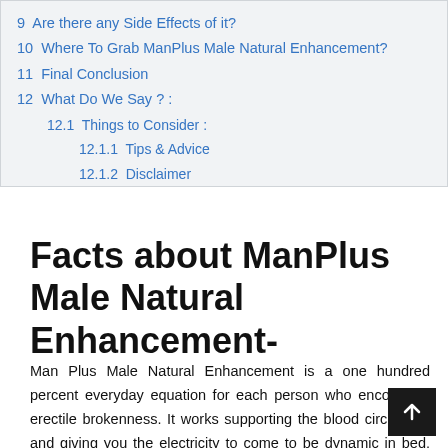9 Are there any Side Effects of it?
10 Where To Grab ManPlus Male Natural Enhancement?
11 Final Conclusion
12 What Do We Say ? :
12.1 Things to Consider :
12.1.1 Tips & Advice
12.1.2 Disclaimer
Facts about ManPlus Male Natural Enhancement-
Man Plus Male Natural Enhancement is a one hundred percent everyday equation for each person who encounters erectile brokenness. It works supporting the blood circulation and giving you the electricity to come to be dynamic in bed. For what cause does it stand aside from others? The association relies upon